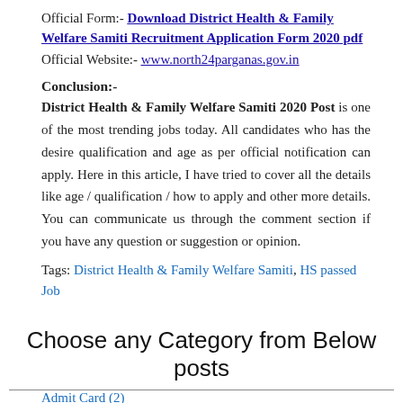Official Form:- Download District Health & Family Welfare Samiti Recruitment Application Form 2020 pdf
Official Website:- www.north24parganas.gov.in
Conclusion:-
District Health & Family Welfare Samiti 2020 Post is one of the most trending jobs today. All candidates who has the desire qualification and age as per official notification can apply. Here in this article, I have tried to cover all the details like age / qualification / how to apply and other more details. You can communicate us through the comment section if you have any question or suggestion or opinion.
Tags: District Health & Family Welfare Samiti, HS passed Job
Choose any Category from Below posts
Admit Card (2)